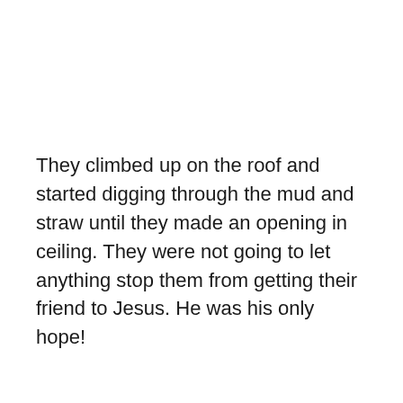They climbed up on the roof and started digging through the mud and straw until they made an opening in ceiling. They were not going to let anything stop them from getting their friend to Jesus. He was his only hope!